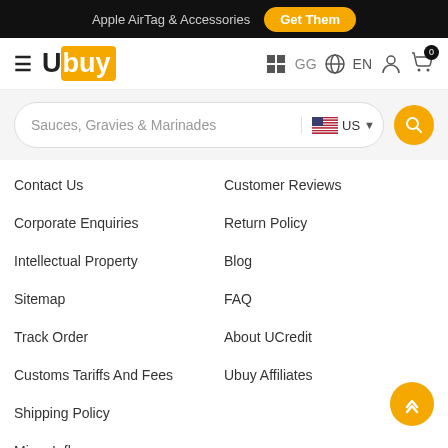Apple AirTag & Accessories  Get Them
[Figure (logo): Ubuy logo with hamburger menu, GG country selector, EN language selector, user icon, and cart icon with badge 0]
[Figure (screenshot): Search bar with placeholder text 'Sauces, Gravies & Marinades', US flag dropdown, and yellow search button]
Contact Us
Customer Reviews
Corporate Enquiries
Return Policy
Intellectual Property
Blog
Sitemap
FAQ
Track Order
About UCredit
Customs Tariffs And Fees
Ubuy Affiliates
Shipping Policy
Micro Influencer